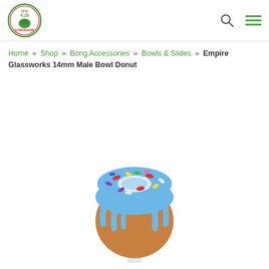[Figure (logo): It's 4:20 Somewhere logo — circular green logo with mortar and pestle]
Home » Shop » Bong Accessories » Bowls & Slides » Empire Glassworks 14mm Male Bowl Donut
[Figure (photo): Empire Glassworks 14mm Male Bowl Donut — a glass bowl shaped like a donut with blue frosting and colorful sprinkles on top of a tan glass ball stem]